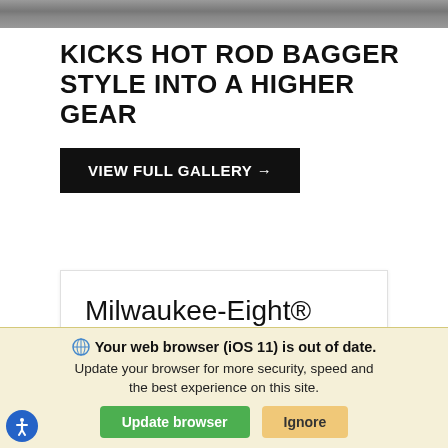[Figure (photo): Partial top strip of a grey road or surface photo]
KICKS HOT ROD BAGGER STYLE INTO A HIGHER GEAR
VIEW FULL GALLERY →
Milwaukee-Eight® 114 Engine
The most displacement in standard H-D
Your web browser (iOS 11) is out of date. Update your browser for more security, speed and the best experience on this site.